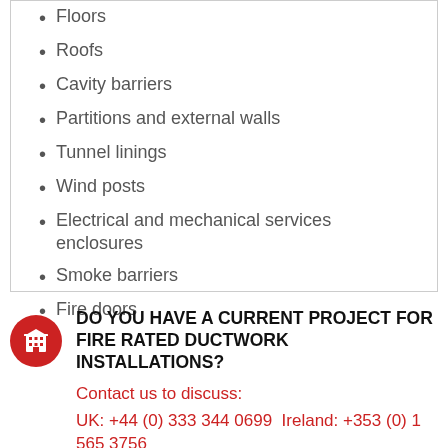Floors
Roofs
Cavity barriers
Partitions and external walls
Tunnel linings
Wind posts
Electrical and mechanical services enclosures
Smoke barriers
Fire doors
DO YOU HAVE A CURRENT PROJECT FOR FIRE RATED DUCTWORK INSTALLATIONS?
Contact us to discuss:
UK: +44 (0) 333 344 0699  Ireland: +353 (0) 1 565 3756